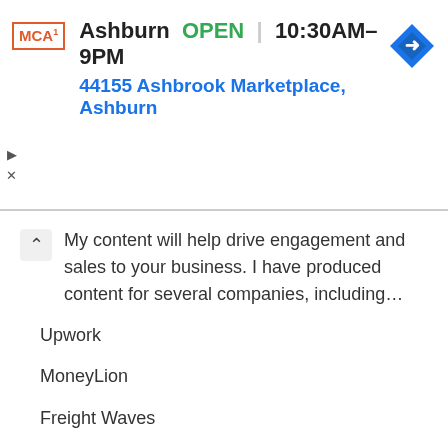[Figure (screenshot): McDonald's ad banner showing Ashburn location, OPEN status, hours 10:30AM-9PM, address 44155 Ashbrook Marketplace Ashburn, with navigation icon]
My content will help drive engagement and sales to your business. I have produced content for several companies, including…
Upwork
MoneyLion
Freight Waves
Westchester Business Journal
Property Onion